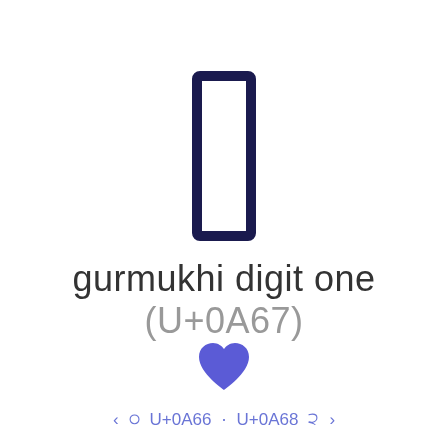[Figure (illustration): Gurmukhi digit one character (U+0A67) rendered large inside a dark navy outlined rectangle, displayed as a glyph preview]
gurmukhi digit one (U+0A67)
[Figure (illustration): A blue/purple heart icon indicating a favorite or liked character]
< ੦ U+0A66 · U+0A68 ੨ >